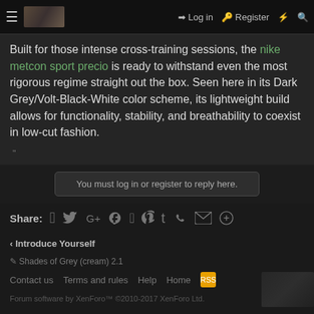≡  [logo]  Log in  Register  ⚡  🔍
Built for those intense cross-training sessions, the nike metcon sport precio is ready to withstand even the most rigorous regime straight out the box. Seen here in its Dark Grey/Volt-Black-White color scheme, its lightweight build allows for functionality, stability, and breathability to coexist in low-cut fashion.
"
You must log in or register to reply here.
Share:  [Facebook] [Twitter] [Google+] [Reddit] [Pinterest] [Tumblr] [WhatsApp] [Email] [Link]
< Introduce Yourself
✏ Shades of Grey (cream) 2.1
Contact us  Terms and rules  Help  Home  [RSS]
Forum software by XenForo™ ©2010-2017 XenForo Ltd.